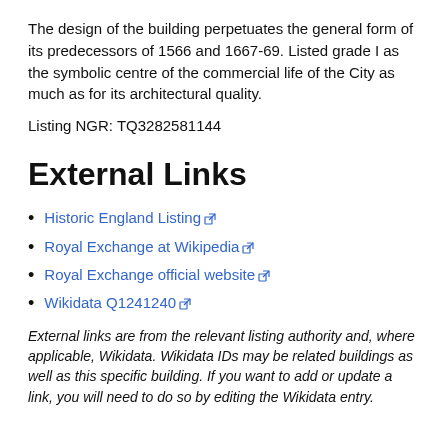The design of the building perpetuates the general form of its predecessors of 1566 and 1667-69. Listed grade I as the symbolic centre of the commercial life of the City as much as for its architectural quality.
Listing NGR: TQ3282581144
External Links
Historic England Listing
Royal Exchange at Wikipedia
Royal Exchange official website
Wikidata Q1241240
External links are from the relevant listing authority and, where applicable, Wikidata. Wikidata IDs may be related buildings as well as this specific building. If you want to add or update a link, you will need to do so by editing the Wikidata entry.